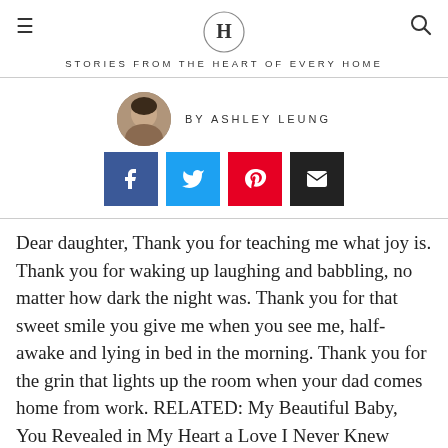STORIES FROM THE HEART OF EVERY HOME
BY ASHLEY LEUNG
[Figure (illustration): Author photo of Ashley Leung, circular crop]
[Figure (infographic): Social sharing buttons: Facebook, Twitter, Pinterest, Email]
Dear daughter, Thank you for teaching me what joy is. Thank you for waking up laughing and babbling, no matter how dark the night was. Thank you for that sweet smile you give me when you see me, half-awake and lying in bed in the morning. Thank you for the grin that lights up the room when your dad comes home from work. RELATED: My Beautiful Baby, You Revealed in My Heart a Love I Never Knew Possible Some days are rough When you're crying and I don't know what you want, or when my arms are sore from holding…